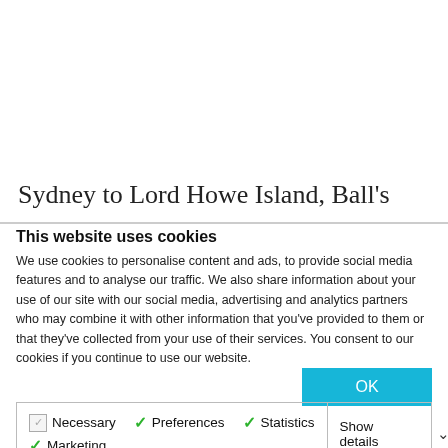Sydney to Lord Howe Island, Ball's
This website uses cookies
We use cookies to personalise content and ads, to provide social media features and to analyse our traffic. We also share information about your use of our site with our social media, advertising and analytics partners who may combine it with other information that you've provided to them or that they've collected from your use of their services. You consent to our cookies if you continue to use our website.
OK
Necessary  Preferences  Statistics  Marketing  Show details